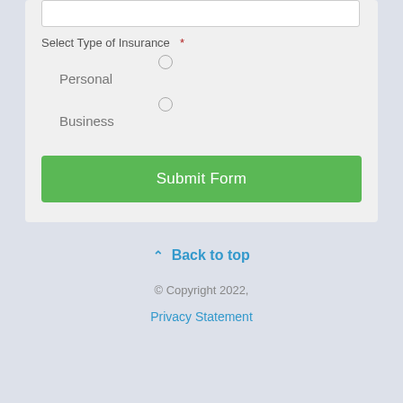Select Type of Insurance *
Personal
Business
Submit Form
Back to top
© Copyright 2022,
Privacy Statement